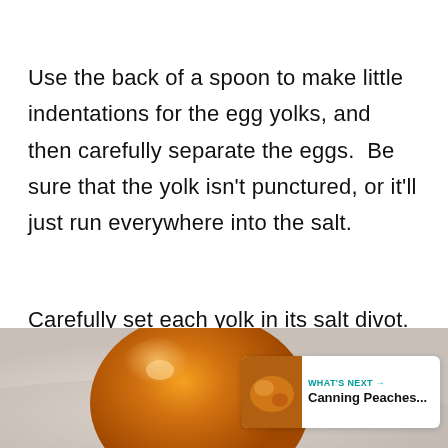Use the back of a spoon to make little indentations for the egg yolks, and then carefully separate the eggs.  Be sure that the yolk isn't punctured, or it'll just run everywhere into the salt.
Carefully set each yolk in its salt divot.
[Figure (photo): Close-up photo of an egg yolk on a light surface, with a 'WHAT'S NEXT → Canning Peaches...' overlay card in the bottom right corner.]